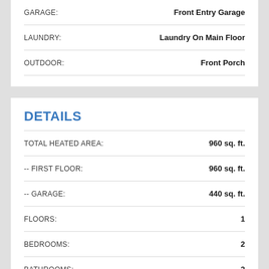| Field | Value |
| --- | --- |
| GARAGE: | Front Entry Garage |
| LAUNDRY: | Laundry On Main Floor |
| OUTDOOR: | Front Porch |
DETAILS
| Field | Value |
| --- | --- |
| TOTAL HEATED AREA: | 960 sq. ft. |
| -- FIRST FLOOR: | 960 sq. ft. |
| -- GARAGE: | 440 sq. ft. |
| FLOORS: | 1 |
| BEDROOMS: | 2 |
| BATHROOMS: | 2 |
| GARAGES: | 2 car |